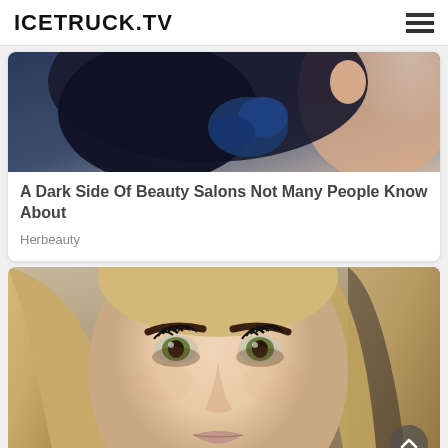ICETRUCK.TV
[Figure (photo): Close-up of a woman with dark hair and blue floral accessory near her ear, partially cropped]
A Dark Side Of Beauty Salons Not Many People Know About
Herbeauty
[Figure (photo): Close-up portrait of a blonde woman with heavy eye makeup, prominent eyebrows, and light pink lips]